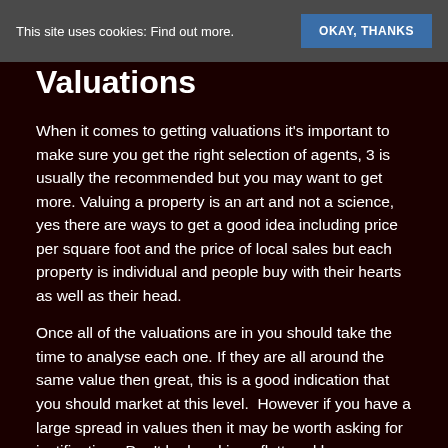This site uses cookies: Find out more. OKAY, THANKS
Valuations
When it comes to getting valuations it's important to make sure you get the right selection of agents, 3 is usually the recommended but you may want to get more. Valuing a property is an art and not a science, yes there are ways to get a good idea including price per square foot and the price of local sales but each property is individual and people buy with their hearts as well as their head.
Once all of the valuations are in you should take the time to analyse each one. If they are all around the same value then great, this is a good indication that you should market at this level.  However if you have a large spread in values then it may be worth asking for justification.  Don't be lured in or flattered by an over the top valuation, the